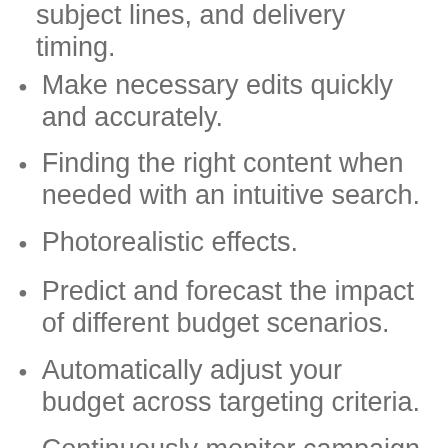subject lines, and delivery timing.
Make necessary edits quickly and accurately.
Finding the right content when needed with an intuitive search.
Photorealistic effects.
Predict and forecast the impact of different budget scenarios.
Automatically adjust your budget across targeting criteria.
Continuously monitor campaign performance to optimize ad delivery.
Create high-quality documents with content intelligence.